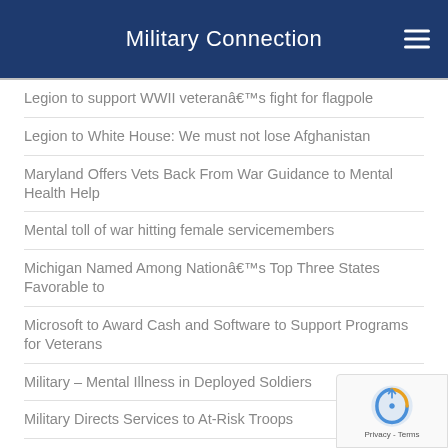Military Connection
Legion to support WWII veteranâ€™s fight for flagpole
Legion to White House: We must not lose Afghanistan
Maryland Offers Vets Back From War Guidance to Mental Health Help
Mental toll of war hitting female servicemembers
Michigan Named Among Nationâ€™s Top Three States Favorable to
Microsoft to Award Cash and Software to Support Programs for Veterans
Military – Mental Illness in Deployed Soldiers
Military Directs Services to At-Risk Troops
Military Experience and Training Help You Win That Job
Military Pay Competitive With Private Sector
MYou Can Get Both Social Security Benefits And Military Retirement
National Coalition of Homeless Vets